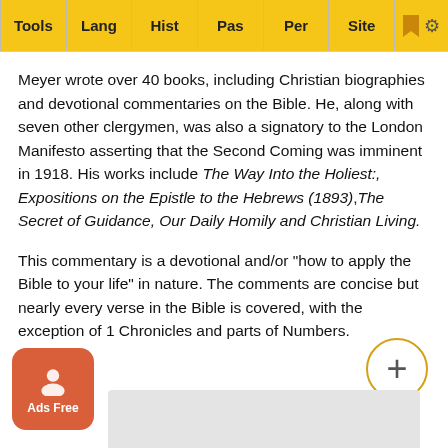Tools | Lang | Hist | Pas | Per | Site
Meyer wrote over 40 books, including Christian biographies and devotional commentaries on the Bible. He, along with seven other clergymen, was also a signatory to the London Manifesto asserting that the Second Coming was imminent in 1918. His works include The Way Into the Holiest:, Expositions on the Epistle to the Hebrews (1893),The Secret of Guidance, Our Daily Homily and Christian Living.
This commentary is a devotional and/or "how to apply the Bible to your life" in nature. The comments are concise but nearly every verse in the Bible is covered, with the exception of 1 Chronicles and parts of Numbers.
[Figure (screenshot): Ads Free button (orange rounded square with person icon) and a plus button (circle with +) and a grey ad placeholder box at the bottom.]